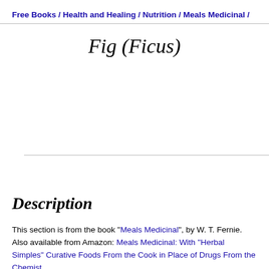Free Books / Health and Healing / Nutrition / Meals Medicinal /
Fig (Ficus)
Description
This section is from the book "Meals Medicinal", by W. T. Fernie. Also available from Amazon: Meals Medicinal: With "Herbal Simples" Curative Foods From the Cook in Place of Drugs From the Chemist.